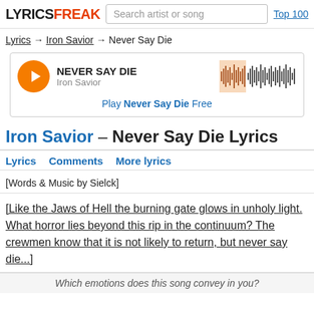LYRICSFREAK | Search artist or song | Top 100
Lyrics → Iron Savior → Never Say Die
[Figure (other): Music player widget showing NEVER SAY DIE by Iron Savior with orange play button and waveform. Play Never Say Die Free.]
Iron Savior – Never Say Die Lyrics
Lyrics   Comments   More lyrics
[Words & Music by Sielck]
[Like the Jaws of Hell the burning gate glows in unholy light. What horror lies beyond this rip in the continuum? The crewmen know that it is not likely to return, but never say die...]
Which emotions does this song convey in you?